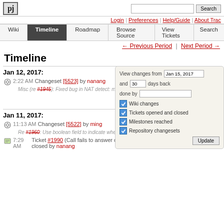[Figure (logo): PJ logo box]
Login | Preferences | Help/Guide | About Trac
Wiki | Timeline | Roadmap | Browse Source | View Tickets | Search
← Previous Period | Next Period →
Timeline
Jan 12, 2017:
2:22 AM Changeset [5523] by nanang
Misc (re #1945): Fixed bug in NAT detect: missing address family ...
Jan 11, 2017:
11:13 AM Changeset [5522] by ming
Re #1960: Use boolean field to indicate whether the info is empty (instead ...
7:29 AM Ticket #1990 (Call fails to answer due to ICE media transport init blocking) closed by nanang